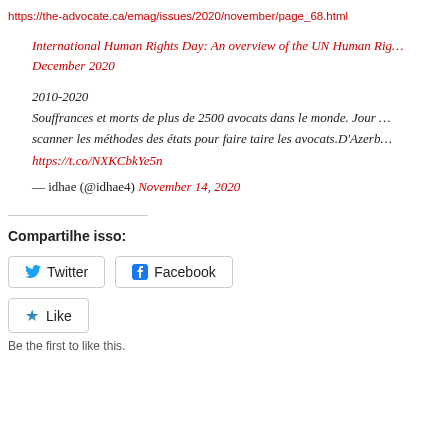https://the-advocate.ca/emag/issues/2020/november/page_68.html
International Human Rights Day: An overview of the UN Human Rig...
December 2020
2010-2020
Souffrances et morts de plus de 2500 avocats dans le monde. Jour ...
scanner les méthodes des états pour faire taire les avocats.D'Azerb...
https://t.co/NXKCbkYe5n
— idhae (@idhae4) November 14, 2020
Compartilhe isso:
Twitter   Facebook
Like
Be the first to like this.